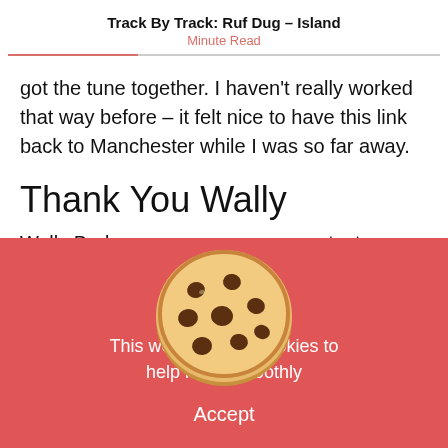Track By Track: Ruf Dug – Island
Minute Read
got the tune together. I haven't really worked that way before – it felt nice to have this link back to Manchester while I was so far away.
Thank You Wally
Wally Badarou was greatest influence
[Figure (photo): A chocolate chip cookie illustration centered over the cookie consent banner.]
This website uses cookies to help it run smoothly
Accept